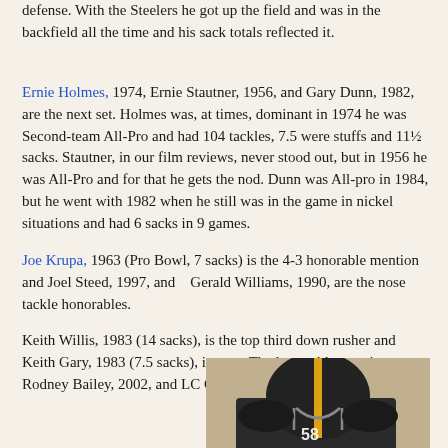defense. With the Steelers he got up the field and was in the backfield all the time and his sack totals reflected it.
Ernie Holmes, 1974, Ernie Stautner, 1956, and Gary Dunn, 1982, are the next set. Holmes was, at times, dominant in 1974 he was Second-team All-Pro and had 104 tackles, 7.5 were stuffs and 11½ sacks. Stautner, in our film reviews, never stood out, but in 1956 he was All-Pro and for that he gets the nod. Dunn was All-pro in 1984, but he went with 1982 when he still was in the game in nickel situations and had 6 sacks in 9 games.
Joe Krupa, 1963 (Pro Bowl, 7 sacks) is the 4-3 honorable mention and Joel Steed, 1997, and   Gerald Williams, 1990, are the nose tackle honorables.
Keith Willis, 1983 (14 sacks), is the top third down rusher and Keith Gary, 1983 (7.5 sacks), is next. The honorable mentions are Rodney Bailey, 2002, and LC Greenwood, 1970.
[Figure (photo): Partial photo of a Pittsburgh Steelers player wearing a helmet with the number 58, visible from approximately chest up, cut off at the bottom of the page.]